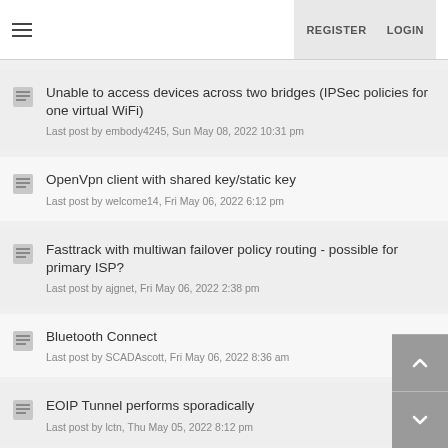REGISTER  LOGIN
Unable to access devices across two bridges (IPSec policies for one virtual WiFi)
Last post by embody4245, Sun May 08, 2022 10:31 pm
OpenVpn client with shared key/static key
Last post by welcome14, Fri May 06, 2022 6:12 pm
Fasttrack with multiwan failover policy routing - possible for primary ISP?
Last post by ajgnet, Fri May 06, 2022 2:38 pm
Bluetooth Connect
Last post by SCADAscott, Fri May 06, 2022 8:36 am
EOIP Tunnel performs sporadically
Last post by lctn, Thu May 05, 2022 8:12 pm